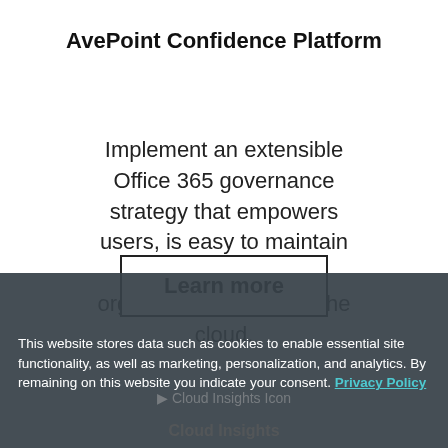AvePoint Confidence Platform
Implement an extensible Office 365 governance strategy that empowers users, is easy to maintain and scales as your organization adopts to the cloud.
Learn more
This website stores data such as cookies to enable essential site functionality, as well as marketing, personalization, and analytics. By remaining on this website you indicate your consent. Privacy Policy
Cloud Insights